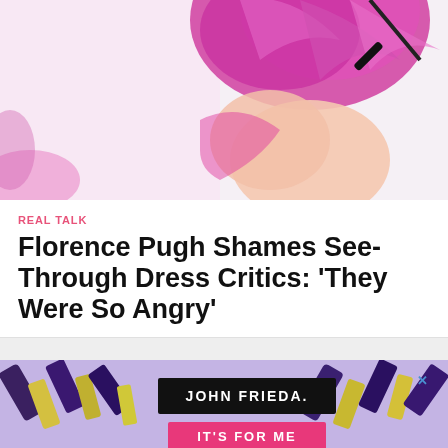[Figure (photo): Top portion of a person with bright pink/magenta hair or feathered hair accessory and bare shoulder, against a light background with pink elements]
REAL TALK
Florence Pugh Shames See-Through Dress Critics: 'They Were So Angry'
[Figure (photo): John Frieda hair product advertisement showing multiple product bottles on a purple/lavender background with text 'JOHN FRIEDA. IT'S FOR ME SHOP NOW' and an X close button]